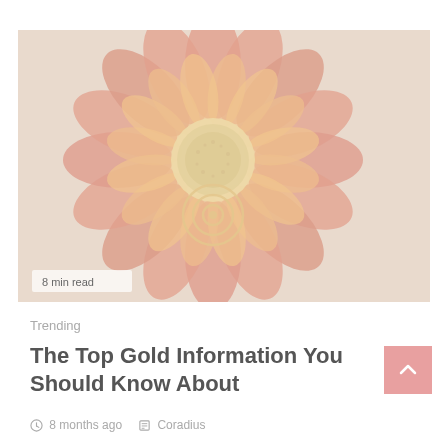[Figure (photo): Close-up photo of a red and yellow gazania/sunflower-like flower with concentric circle overlay in the center, washed out/faded appearance with a '8 min read' badge in the bottom left corner]
Trending
The Top Gold Information You Should Know About
8 months ago   Coradius